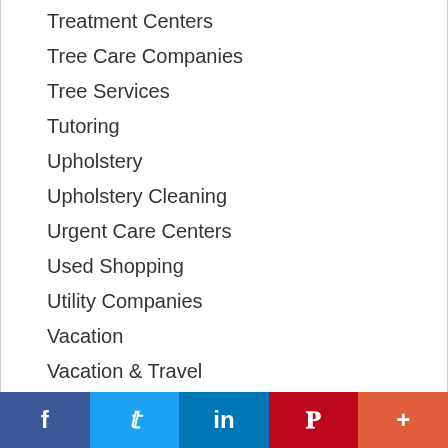Treatment Centers
Tree Care Companies
Tree Services
Tutoring
Upholstery
Upholstery Cleaning
Urgent Care Centers
Used Shopping
Utility Companies
Vacation
Vacation & Travel
Vacation Rentals
Vehicles
Veterinarian
f  Twitter  in  P  +